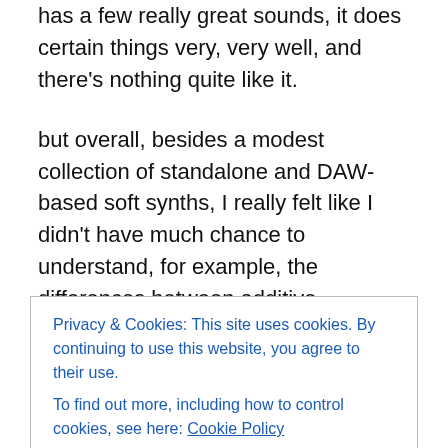has a few really great sounds, it does certain things very, very well, and there's nothing quite like it.
but overall, besides a modest collection of standalone and DAW-based soft synths, I really felt like I didn't have much chance to understand, for example, the differences between additive synthesis and subtractive synthesis, I never really felt like I totally understood the magical relationships between oscillators, filters, modulators, and amplifiers, because I didn't have examples of the many, many various hardware devices with their wildly differing
Privacy & Cookies: This site uses cookies. By continuing to use this website, you agree to their use.
To find out more, including how to control cookies, see here: Cookie Policy
synths that feature them.